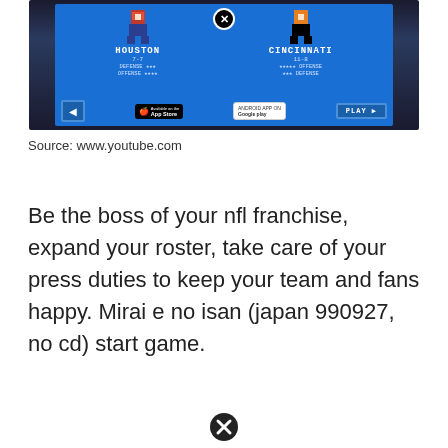[Figure (screenshot): Mobile game screenshot showing Houston (7-7) vs Cincinnati (11-8) NFL matchup with pixel art player sprites on blue background, App Store and Google Play buttons, and Play button]
Source: www.youtube.com
Be the boss of your nfl franchise, expand your roster, take care of your press duties to keep your team and fans happy. Mirai e no isan (japan 990927, no cd) start game.
[Figure (illustration): Black circle with X icon at bottom of page]